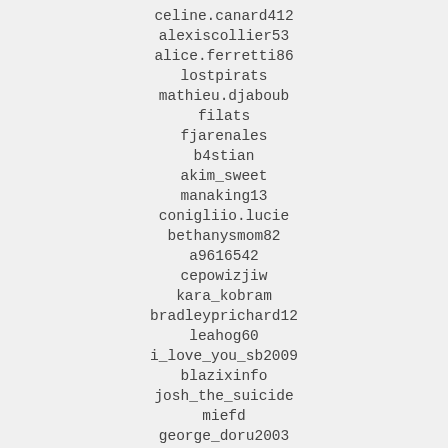celine.canard412
alexiscollier53
alice.ferretti86
lostpirats
mathieu.djaboub
filats
fjarenales
b4stian
akim_sweet
manaking13
conigliio.lucie
bethanysmom82
a9616542
cepowizjiw
kara_kobram
bradleyprichard12
leahog60
i_love_you_sb2009
blazixinfo
josh_the_suicide
miefd
george_doru2003
deuter2813
gaf_ff